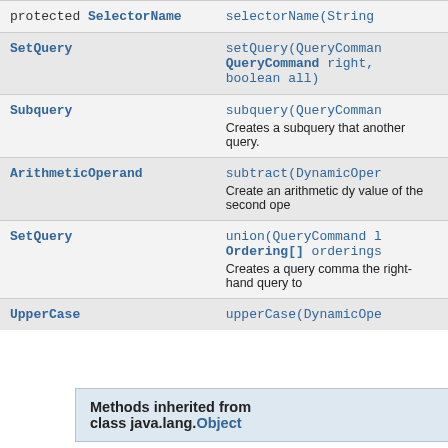| Type | Method |
| --- | --- |
| protected SelectorName | selectorName(String |
| SetQuery | setQuery(QueryCommand QueryCommand right, boolean all) |
| Subquery | subquery(QueryCommand
Creates a subquery that another query. |
| ArithmeticOperand | subtract(DynamicOper
Create an arithmetic dy value of the second ope |
| SetQuery | union(QueryCommand L Ordering[] orderings
Creates a query comma the right-hand query to |
| UpperCase | upperCase(DynamicOpe |
Methods inherited from class java.lang.Object